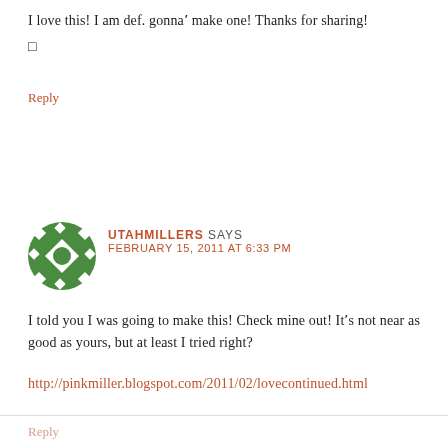I love this! I am def. gonnaʼ make one! Thanks for sharing!
□
Reply
[Figure (illustration): Green decorative avatar icon with star/snowflake pattern in green and white]
UTAHMILLERS SAYS
FEBRUARY 15, 2011 AT 6:33 PM
I told you I was going to make this! Check mine out! Itʼs not near as good as yours, but at least I tried right?
http://pinkmiller.blogspot.com/2011/02/lovecontinued.html
Reply